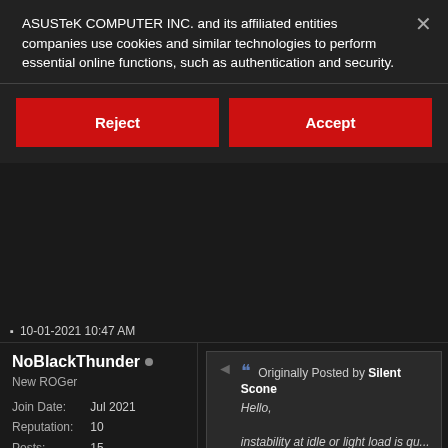ASUSTeK COMPUTER INC. and its affiliated entities companies use cookies and similar technologies to perform essential online functions, such as authentication and security.
Reject
Accept
10-01-2021 10:47 AM
NoBlackThunder •
New ROGer
Join Date:
Jul 2021
Reputation:
10
Posts:
15
Originally Posted by Silent Scone
Hello,

instability at idle or light load is qu... VCCIN on this platform
Really ? where and what should the setti... my Motherboard and CPU is at my deale... have no trust in them ... because several fire .. literly on fire and thy said it was ok b... windows ....
but anyway .. what should the settings ha... this issue come only after you upgraded t...